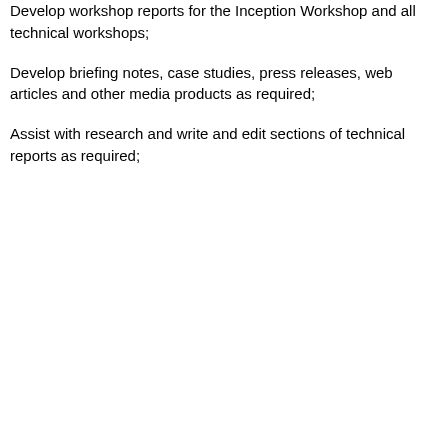Develop workshop reports for the Inception Workshop and all technical workshops;
Develop briefing notes, case studies, press releases, web articles and other media products as required;
Assist with research and write and edit sections of technical reports as required;